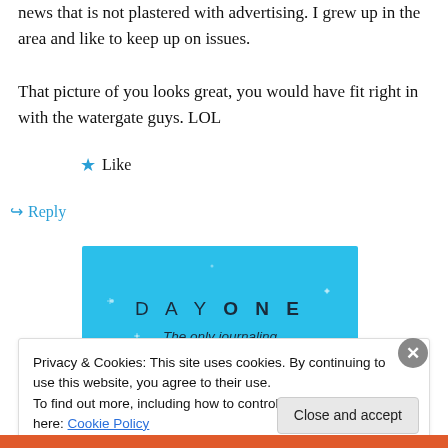news that is not plastered with advertising. I grew up in the area and like to keep up on issues.
That picture of you looks great, you would have fit right in with the watergate guys. LOL
★ Like
↪ Reply
[Figure (screenshot): DAY ONE - The only journaling app you'll ever need. Blue advertisement banner with sparkle dots.]
Privacy & Cookies: This site uses cookies. By continuing to use this website, you agree to their use.
To find out more, including how to control cookies, see here: Cookie Policy
Close and accept